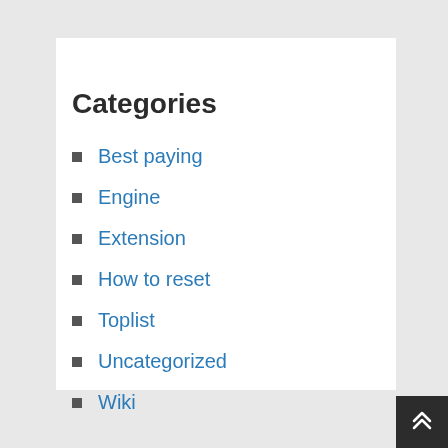Categories
Best paying
Engine
Extension
How to reset
Toplist
Uncategorized
Wiki